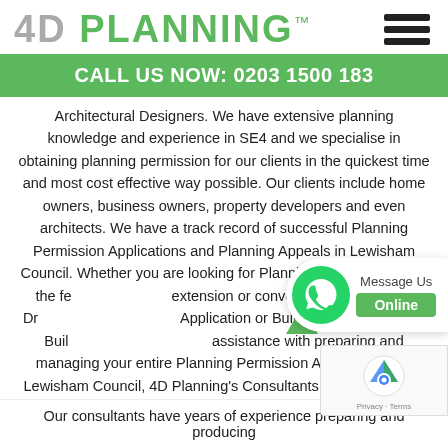4D PLANNING™
CALL US NOW: 0203 1500 183
Architectural Designers. We have extensive planning knowledge and experience in SE4 and we specialise in obtaining planning permission for our clients in the quickest time and most cost effective way possible. Our clients include home owners, business owners, property developers and even architects. We have a track record of successful Planning Permission Applications and Planning Appeals in Lewisham Council. Whether you are looking for Planning Advice regarding the feasibility of your extension or conversion, Architectural Drawings for a Planning Application or Building Regulations for Building works, or require assistance with preparing and managing your entire Planning Permission Application with Lewisham Council, 4D Planning's Consultants are here to help ease the planning process, to liaise with the planning officers on your behalf and to give you the best chance possible of achieving success with your planning application!
[Figure (other): WhatsApp message widget with green chat bubble icon, 'Message Us' label and green 'Online' button]
[Figure (other): Google reCAPTCHA widget with logo, Privacy and Terms links]
Our consultants have years of experience preparing and producing